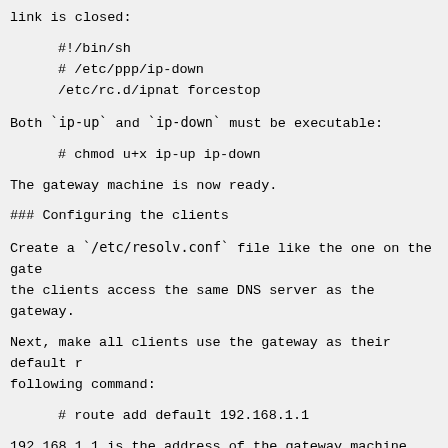link is closed:
#!/bin/sh
# /etc/ppp/ip-down
/etc/rc.d/ipnat forcestop
Both `ip-up` and `ip-down` must be executable:
# chmod u+x ip-up ip-down
The gateway machine is now ready.
### Configuring the clients
Create a `/etc/resolv.conf` file like the one on the gate the clients access the same DNS server as the gateway.
Next, make all clients use the gateway as their default r following command:
# route add default 192.168.1.1
192.168.1.1 is the address of the gateway machine configu section.
Of course you don't want to give this command every time, define the `defaultroute` entry in the `/etc/rc.conf` fi will be set automatically during system initialization, u option as an argument to the **route add default** comman